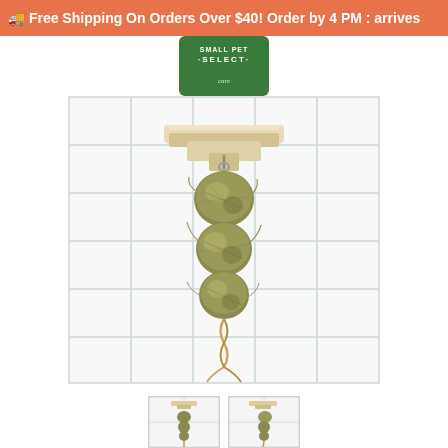🚚 Free Shipping On Orders Over $40! Order by 4 PM : arrives
[Figure (logo): Small Pet Select logo — green rounded rectangle with white text reading SMALL PET SELECT]
[Figure (photo): Product photo: a wooden shelf/platform mounted on a wire cage grid, with a hanging strand of hay balls (grass/timothy hay compressed into round balls strung on a twisted cord), hanging vertically against a white tile-grid background]
[Figure (photo): Thumbnail 1: smaller version of the same hay ball hanger product photo]
[Figure (photo): Thumbnail 2: alternate angle of the same hay ball hanger product]